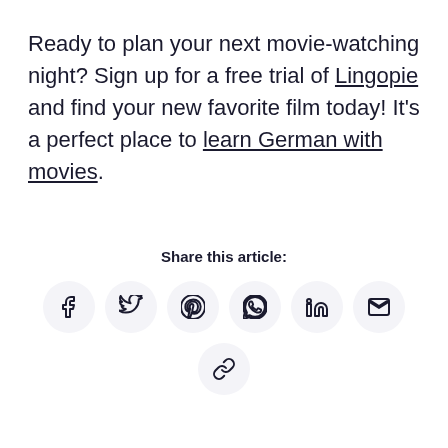Ready to plan your next movie-watching night? Sign up for a free trial of Lingopie and find your new favorite film today! It's a perfect place to learn German with movies.
Share this article:
[Figure (other): Social share icons row: Facebook, Twitter, Pinterest, WhatsApp, LinkedIn, Email, and a link/copy icon]